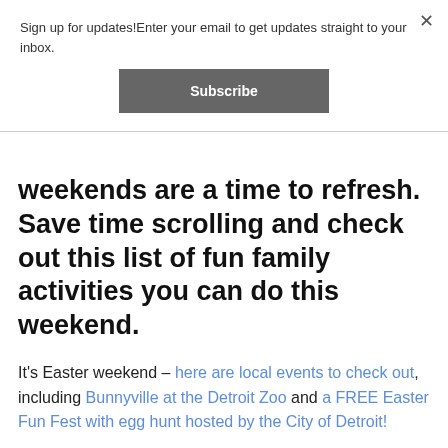Sign up for updates!Enter your email to get updates straight to your inbox.
Subscribe
weekends are a time to refresh. Save time scrolling and check out this list of fun family activities you can do this weekend.
It's Easter weekend – here are local events to check out, including Bunnyville at the Detroit Zoo and a FREE Easter Fun Fest with egg hunt hosted by the City of Detroit!
If you want to stay close to home, here are 10